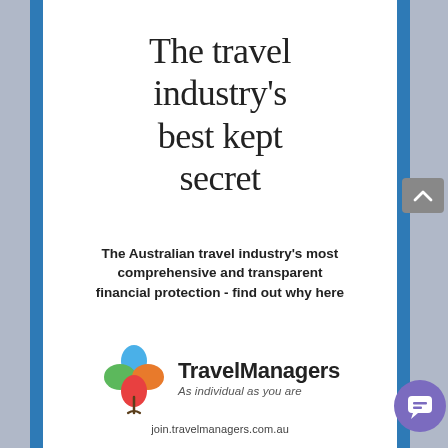The travel industry's best kept secret
The Australian travel industry's most comprehensive and transparent financial protection - find out why here
[Figure (logo): TravelManagers logo: a four-leaf clover shape with blue, green, orange, and red leaves on a stem, beside the text 'TravelManagers / As individual as you are' and URL 'join.travelmanagers.com.au']